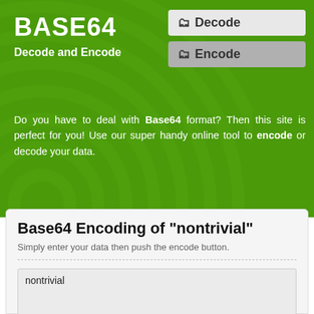BASE64
Decode and Encode
[Figure (screenshot): Decode navigation button (light grey background with folder icon)]
[Figure (screenshot): Encode navigation button (darker grey background with folder icon, currently selected)]
Do you have to deal with Base64 format? Then this site is perfect for you! Use our super handy online tool to encode or decode your data.
Base64 Encoding of "nontrivial"
Simply enter your data then push the encode button.
nontrivial